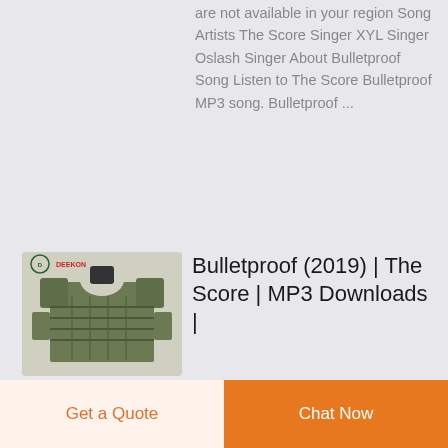are not available in your region Song Artists The Score Singer XYL Singer Oslash Singer About Bulletproof Song Listen to The Score Bulletproof MP3 song. Bulletproof ...
[Figure (photo): Green tactical/bulletproof vest displayed on a mannequin torso with DEEKON brand logo at the top left corner.]
Bulletproof (2019) | The Score | MP3 Downloads |
Get a Quote
Chat Now